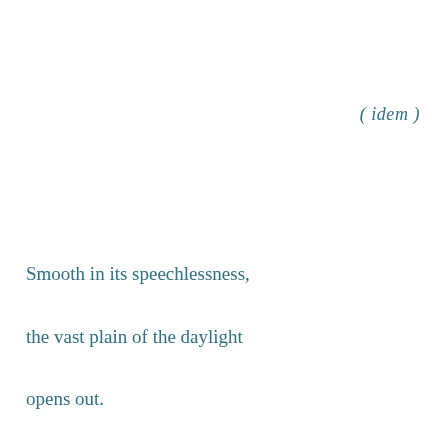( idem )
Smooth in its speechlessness,
the vast plain of the daylight
opens out.